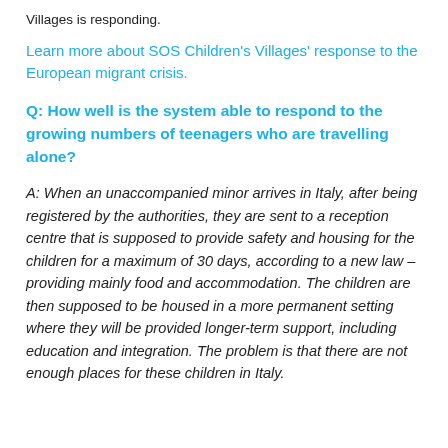Villages is responding.
Learn more about SOS Children's Villages' response to the European migrant crisis.
Q:  How well is the system able to respond to the growing numbers of teenagers who are travelling alone?
A:  When an unaccompanied minor arrives in Italy, after being registered by the authorities, they are sent to a reception centre that is supposed to provide safety and housing for the children for a maximum of 30 days, according to a new law – providing mainly food and accommodation. The children are then supposed to be housed in a more permanent setting where they will be provided longer-term support, including education and integration. The problem is that there are not enough places for these children in Italy.